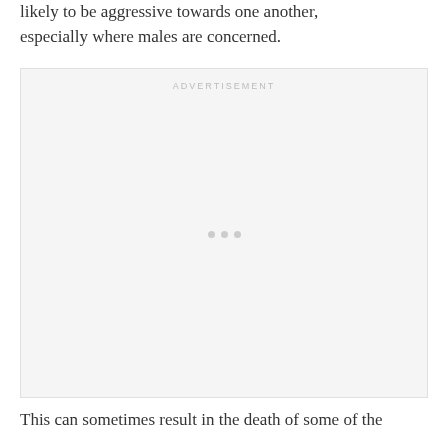likely to be aggressive towards one another, especially where males are concerned.
[Figure (other): Advertisement placeholder box with 'ADVERTISEMENT' label and three loading dots in the center]
This can sometimes result in the death of some of the